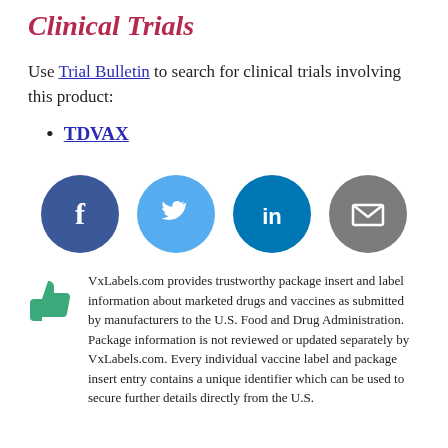Clinical Trials
Use Trial Bulletin to search for clinical trials involving this product:
TDVAX
[Figure (infographic): Four social media sharing icons in circles: Facebook (dark blue), Twitter (light blue), LinkedIn (dark teal), Email (gray)]
VxLabels.com provides trustworthy package insert and label information about marketed drugs and vaccines as submitted by manufacturers to the U.S. Food and Drug Administration. Package information is not reviewed or updated separately by VxLabels.com. Every individual vaccine label and package insert entry contains a unique identifier which can be used to secure further details directly from the U.S.